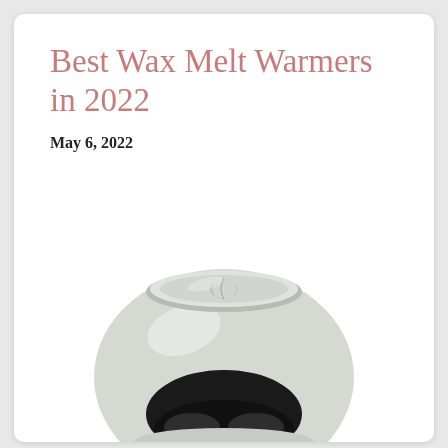Best Wax Melt Warmers in 2022
May 6, 2022
[Figure (photo): A ceramic wax melt warmer with a round, glossy pale grey/white globe-shaped base featuring a large oval cutout opening at the bottom, and a shallow oval dish on top with a yin-yang style divider, shown on a white background.]